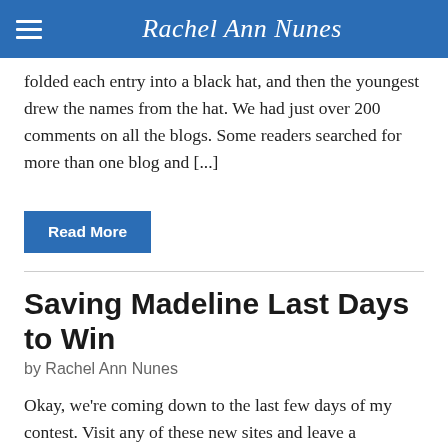Rachel Ann Nunes
folded each entry into a black hat, and then the youngest drew the names from the hat. We had just over 200 comments on all the blogs. Some readers searched for more than one blog and [...]
Read More
Saving Madeline Last Days to Win
by Rachel Ann Nunes
Okay, we're coming down to the last few days of my contest. Visit any of these new sites and leave a comment to be entered into the drawing for a few